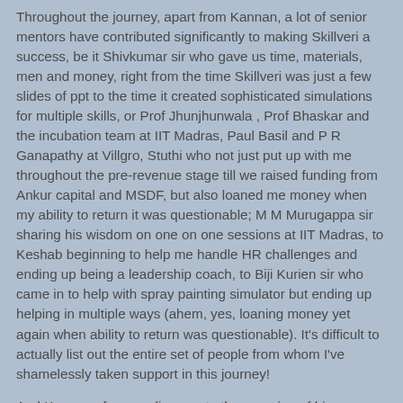Throughout the journey, apart from Kannan, a lot of senior mentors have contributed significantly to making Skillveri a success, be it Shivkumar sir who gave us time, materials, men and money, right from the time Skillveri was just a few slides of ppt to the time it created sophisticated simulations for multiple skills, or Prof Jhunjhunwala , Prof Bhaskar and the incubation team at IIT Madras, Paul Basil and P R Ganapathy at Villgro, Stuthi who not just put up with me throughout the pre-revenue stage till we raised funding from Ankur capital and MSDF, but also loaned me money when my ability to return it was questionable; M M Murugappa sir sharing his wisdom on one on one sessions at IIT Madras, to Keshab beginning to help me handle HR challenges and ending up being a leadership coach, to Biji Kurien sir who came in to help with spray painting simulator but ending up helping in multiple ways (ahem, yes, loaning money yet again when ability to return was questionable). It's difficult to actually list out the entire set of people from whom I've shamelessly taken support in this journey!
And Kannan of course lives up to the meaning of his name, becoming Krishna to the under-confident Arjuna in me.